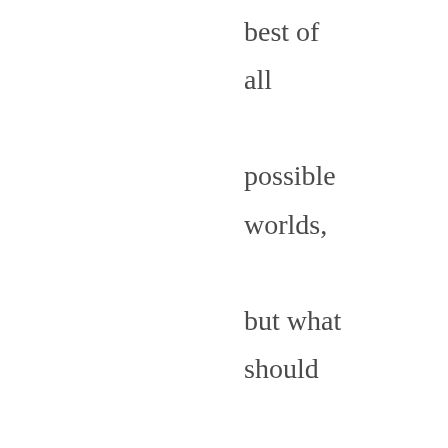best of all possible worlds, but what should be and what's likely to be are two